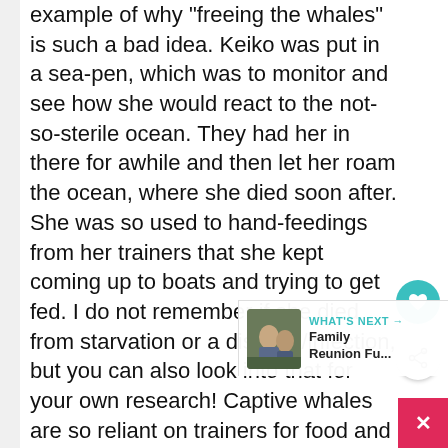example of why "freeing the whales" is such a bad idea. Keiko was put in a sea-pen, which was to monitor and see how she would react to the not-so-sterile ocean. They had her in there for awhile and then let her roam the ocean, where she died soon after. She was so used to hand-feedings from her trainers that she kept coming up to boats and trying to get fed. I do not remember if she died from starvation or a disease/infection, but you can also look into that for your own research! Captive whales are so reliant on trainers for food and attention that, if set free, they will continue to come up to people, which will endanger them because they can get hit by boats or trapped in fishing lines. The ocean is also not as clean
[Figure (screenshot): UI overlay with heart/favorite button (teal circle) and share button (white circle with share icon), a 'WHAT'S NEXT' card showing a thumbnail image and text 'Family Reunion Fu...' with an arrow, and a pink/red close button with an X.]